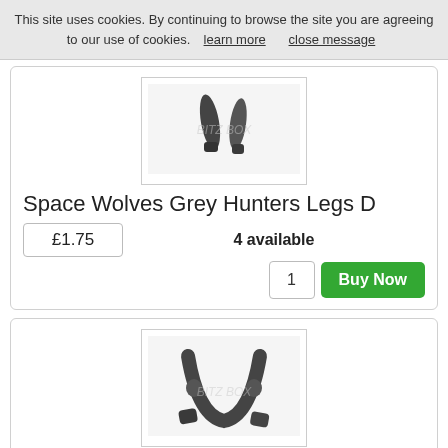This site uses cookies. By continuing to browse the site you are agreeing to our use of cookies.  learn more     close message
[Figure (photo): Product image of Space Wolves Grey Hunters Legs D miniature parts - dark gun-metal colored leg pieces]
Space Wolves Grey Hunters Legs D
£1.75
4 available
1   Buy Now
[Figure (photo): Product image of Space Wolves Grey Hunters Legs E miniature parts - dark armored leg pieces in an arch shape with boots]
Space Wolves Grey Hunters Legs E
£1.75
4 available